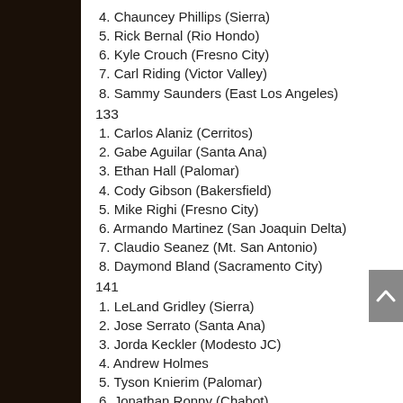4. Chauncey Phillips (Sierra)
5. Rick Bernal (Rio Hondo)
6. Kyle Crouch (Fresno City)
7. Carl Riding (Victor Valley)
8. Sammy Saunders (East Los Angeles)
133
1. Carlos Alaniz (Cerritos)
2. Gabe Aguilar (Santa Ana)
3. Ethan Hall (Palomar)
4. Cody Gibson (Bakersfield)
5. Mike Righi (Fresno City)
6. Armando Martinez (San Joaquin Delta)
7. Claudio Seanez (Mt. San Antonio)
8. Daymond Bland (Sacramento City)
141
1. LeLand Gridley (Sierra)
2. Jose Serrato (Santa Ana)
3. Jorda Keckler (Modesto JC)
4. Andrew Holmes
5. Tyson Knierim (Palomar)
6. Jonathan Ronny (Chabot)
7. Edgar Mercardo (Fresno City)
8. Brice Wasserman (Bakersfield)
149
1. Alfonzo Sanchez (Fresno City)